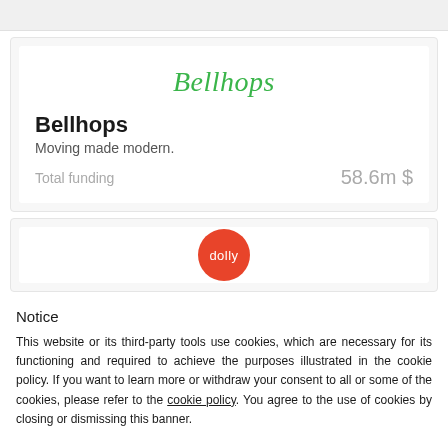[Figure (logo): Bellhops company logo in green cursive script]
Bellhops
Moving made modern.
Total funding    58.6m $
[Figure (logo): Dolly company logo — red circle with white 'dolly' text]
Notice
This website or its third-party tools use cookies, which are necessary for its functioning and required to achieve the purposes illustrated in the cookie policy. If you want to learn more or withdraw your consent to all or some of the cookies, please refer to the cookie policy. You agree to the use of cookies by closing or dismissing this banner.